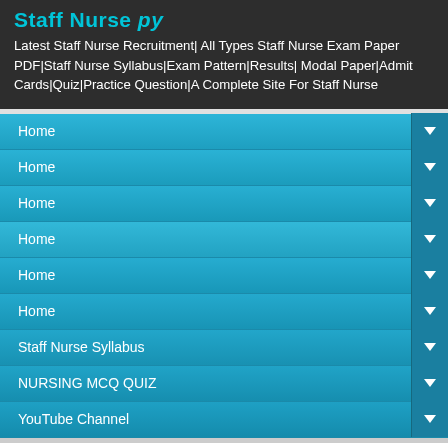Latest Staff Nurse Recruitment| All Types Staff Nurse Exam Paper PDF|Staff Nurse Syllabus|Exam Pattern|Results|Modal Paper|Admit Cards|Quiz|Practice Question|A Complete Site For Staff Nurse
Home
Home
Home
Home
Home
Home
Staff Nurse Syllabus
NURSING MCQ QUIZ
YouTube Channel
Download RRB Staff Nurse Exam 21